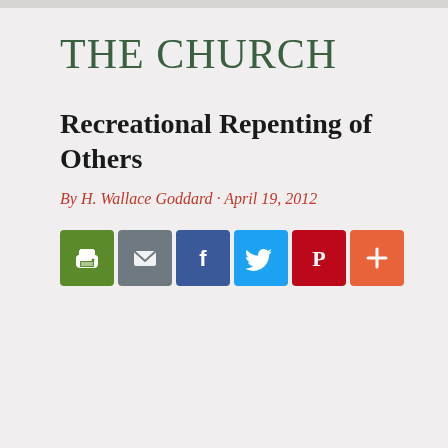THE CHURCH
Recreational Repenting of Others
By H. Wallace Goddard · April 19, 2012
[Figure (infographic): Row of six social sharing icon buttons: print (green), email (grey), Facebook (blue), Twitter (light blue), Pinterest (red), more/plus (orange-red)]